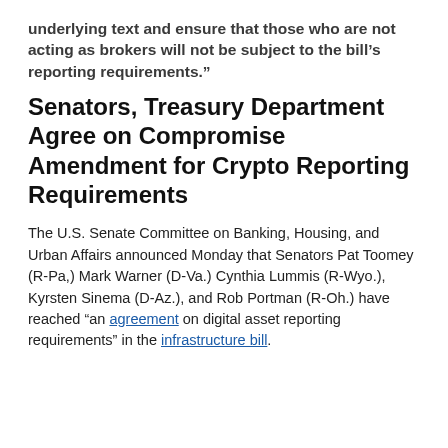underlying text and ensure that those who are not acting as brokers will not be subject to the bill’s reporting requirements.”
Senators, Treasury Department Agree on Compromise Amendment for Crypto Reporting Requirements
The U.S. Senate Committee on Banking, Housing, and Urban Affairs announced Monday that Senators Pat Toomey (R-Pa,) Mark Warner (D-Va.) Cynthia Lummis (R-Wyo.), Kyrsten Sinema (D-Az.), and Rob Portman (R-Oh.) have reached “an agreement on digital asset reporting requirements” in the infrastructure bill.